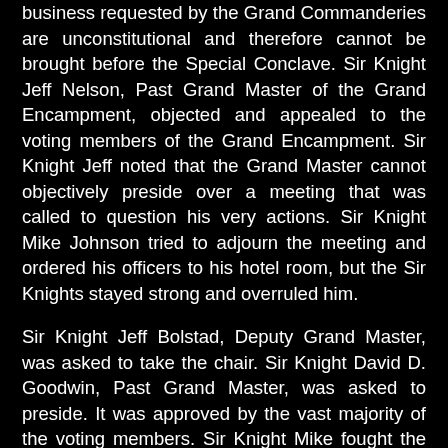business requested by the Grand Commanderies are unconstitutional and therefore cannot be brought before the Special Conclave. Sir Knight Jeff Nelson, Past Grand Master of the Grand Encampment, objected and appealed to the voting members of the Grand Encampment. Sir Knight Jeff noted that the Grand Master cannot objectively preside over a meeting that was called to question his very actions. Sir Knight Mike Johnson tried to adjourn the meeting and ordered his officers to his hotel room, but the Sir Knights stayed strong and overruled him.
Sir Knight Jeff Bolstad, Deputy Grand Master, was asked to take the chair. Sir Knight David D. Goodwin, Past Grand Master, was asked to preside. It was approved by the vast majority of the voting members. Sir Knight Mike fought the decision and even made a threatening gesture when Sir Knight Goodwin took the stage. He then asked Sir Knight Terry Plemmons, Grand Prelate, to give a prayer.
After the prayer, Sir Knight Goodwin had the final report of the credentials committee given; there were 298 registered voters (nearly as many that were at Triennial last August).